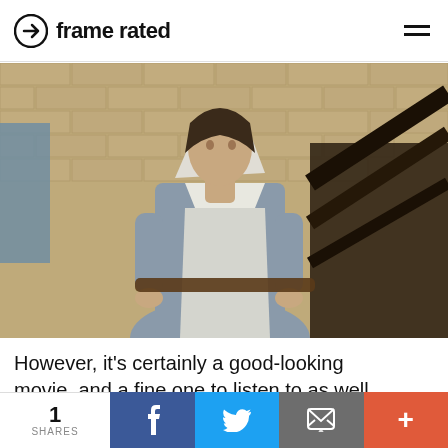frame rated
[Figure (photo): A woman dressed as a nurse in a historical grey uniform with white apron and white cap, standing near a staircase railing with tile brick wall in background, looking seriously to the side.]
However, it's certainly a good-looking movie, and a fine one to listen to as well, with outstanding sound design and an effective score from Elizabeth B